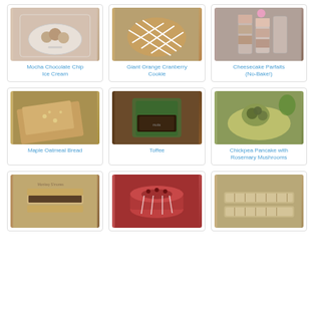[Figure (photo): Mocha Chocolate Chip Ice Cream in a white bowl]
Mocha Chocolate Chip Ice Cream
[Figure (photo): Giant Orange Cranberry Cookie with white icing drizzle]
Giant Orange Cranberry Cookie
[Figure (photo): Cheesecake Parfaits (No-Bake!) in glass cups]
Cheesecake Parfaits (No-Bake!)
[Figure (photo): Maple Oatmeal Bread sliced on a board]
Maple Oatmeal Bread
[Figure (photo): Toffee pieces in a box]
Toffee
[Figure (photo): Chickpea Pancake with Rosemary Mushrooms on a plate]
Chickpea Pancake with Rosemary Mushrooms
[Figure (photo): Monkey S'mores sandwich cookies]
[Figure (photo): Round bundt cake with white glaze]
[Figure (photo): Biscotti or finger cookies on a tray]